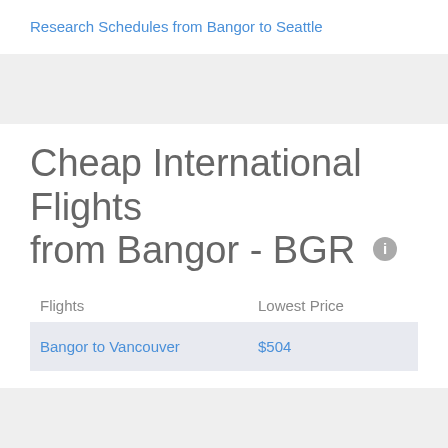Research Schedules from Bangor to Seattle
Cheap International Flights from Bangor - BGR
| Flights | Lowest Price |
| --- | --- |
| Bangor to Vancouver | $504 |